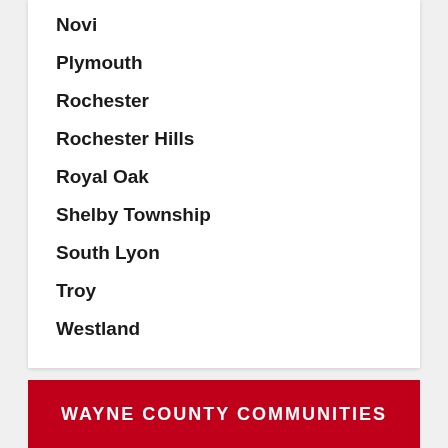Novi
Plymouth
Rochester
Rochester Hills
Royal Oak
Shelby Township
South Lyon
Troy
Westland
WAYNE COUNTY COMMUNITIES